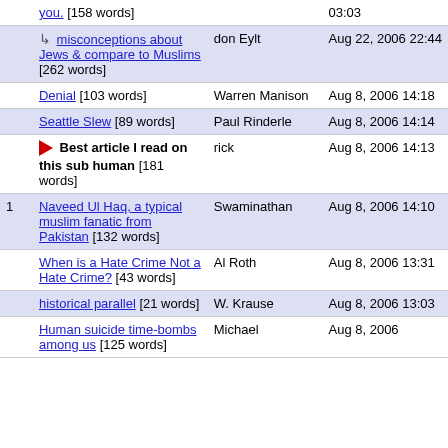|  | Title | Author | Date |
| --- | --- | --- | --- |
|  | you. [158 words] |  | 03:03 |
|  | ↳ misconceptions about Jews & compare to Muslims [262 words] | don Eylt | Aug 22, 2006 22:44 |
|  | Denial [103 words] | Warren Manison | Aug 8, 2006 14:18 |
|  | Seattle Slew [89 words] | Paul Rinderle | Aug 8, 2006 14:14 |
|  | ➡ Best article I read on this sub human [181 words] | rick | Aug 8, 2006 14:13 |
| 1 | Naveed Ul Haq, a typical muslim fanatic from Pakistan [132 words] | Swaminathan | Aug 8, 2006 14:10 |
|  | When is a Hate Crime Not a Hate Crime? [43 words] | Al Roth | Aug 8, 2006 13:31 |
|  | historical parallel [21 words] | W. Krause | Aug 8, 2006 13:03 |
|  | Human suicide time-bombs among us [125 words] | Michael | Aug 8, 2006 |